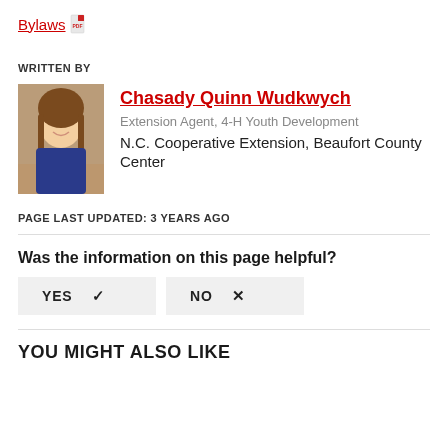Bylaws
WRITTEN BY
[Figure (photo): Headshot of Chasady Quinn Wudkwych, a woman with long brown hair, smiling, wearing a blue patterned top, in front of a brick wall background.]
Chasady Quinn Wudkwych
Extension Agent, 4-H Youth Development
N.C. Cooperative Extension, Beaufort County Center
PAGE LAST UPDATED: 3 YEARS AGO
Was the information on this page helpful?
YES ✓   NO ×
YOU MIGHT ALSO LIKE